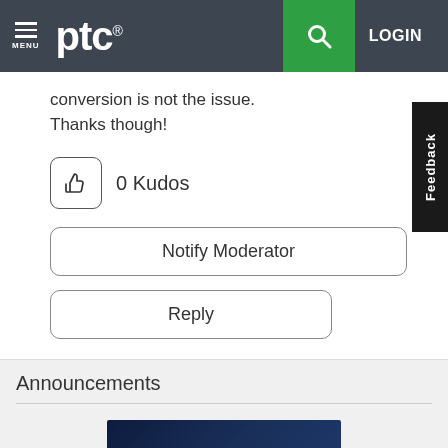PTC MENU LOGIN
conversion is not the issue. Thanks though!
0 Kudos
Notify Moderator
Reply
Announcements
[Figure (screenshot): CREO PLUS EXTENSIONS & PACKAGES banner image with dark blue background]